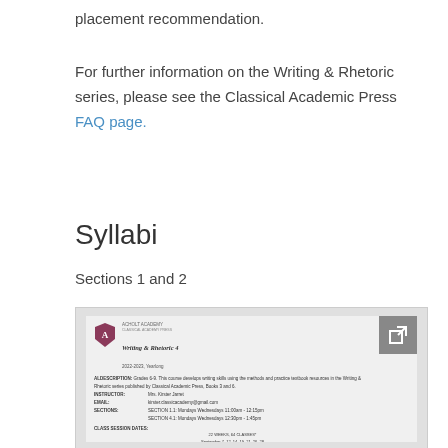placement recommendation.
For further information on the Writing & Rhetoric series, please see the Classical Academic Press FAQ page.
Syllabi
Sections 1 and 2
[Figure (screenshot): Thumbnail preview of a Writing & Rhetoric 4 syllabus document from Acholt Academy / Classical Academy Press, showing instructor, email, sections, and class session dates.]